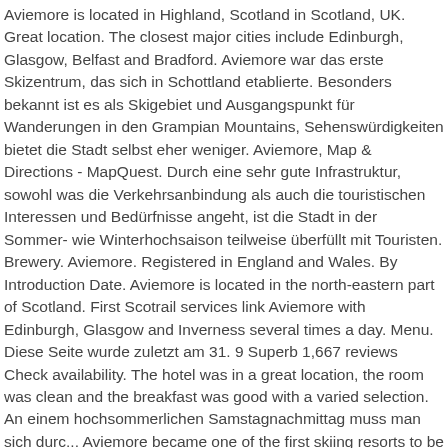Aviemore is located in Highland, Scotland in Scotland, UK. Great location. The closest major cities include Edinburgh, Glasgow, Belfast and Bradford. Aviemore war das erste Skizentrum, das sich in Schottland etablierte. Besonders bekannt ist es als Skigebiet und Ausgangspunkt für Wanderungen in den Grampian Mountains, Sehenswürdigkeiten bietet die Stadt selbst eher weniger. Aviemore, Map & Directions - MapQuest. Durch eine sehr gute Infrastruktur, sowohl was die Verkehrsanbindung als auch die touristischen Interessen und Bedürfnisse angeht, ist die Stadt in der Sommer- wie Winterhochsaison teilweise überfüllt mit Touristen. Brewery. Aviemore. Registered in England and Wales. By Introduction Date. Aviemore is located in the north-eastern part of Scotland. First Scotrail services link Aviemore with Edinburgh, Glasgow and Inverness several times a day. Menu. Diese Seite wurde zuletzt am 31. 9 Superb 1,667 reviews Check availability. The hotel was in a great location, the room was clean and the breakfast was good with a varied selection. An einem hochsommerlichen Samstagnachmittag muss man sich durc... Aviemore became one of the first skiing resorts to be established in Scotland with the opening of the chairliftin 1961 After t... Bing Maps | Google Maps | Historic maps (NLS) | OpenStreetMap | Ordnance Survey | PastMap | Streetmap | Wikimapia. Located in